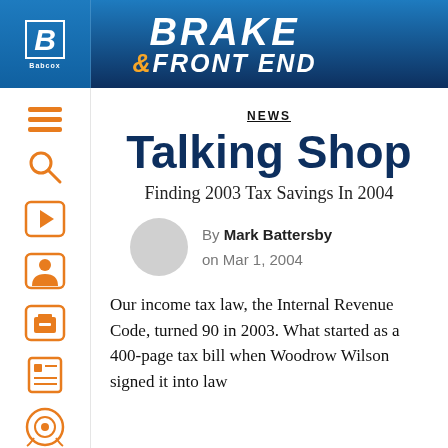BRAKE & FRONT END — Babcox
NEWS
Talking Shop
Finding 2003 Tax Savings In 2004
By Mark Battersby on Mar 1, 2004
Our income tax law, the Internal Revenue Code, turned 90 in 2003. What started as a 400-page tax bill when Woodrow Wilson signed it into law...